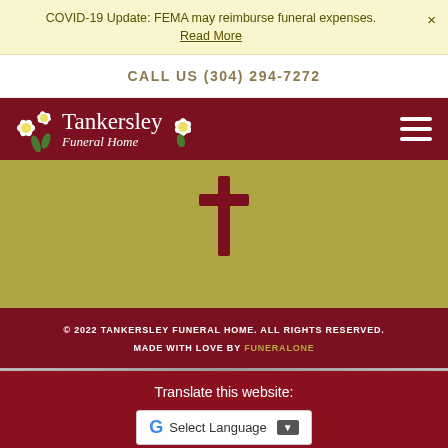COVID-19 Update: FEMA may reimburse funeral expenses. Read More
CALL US (304) 294-7272
[Figure (logo): Tankersley Funeral Home logo with white flowers and cursive text on dark red background]
[Figure (illustration): Christian cross symbol in dark maroon/brown color on olive/tan background]
© 2022 TANKERSLEY FUNERAL HOME. ALL RIGHTS RESERVED. MADE WITH LOVE BY FUNERALONE
Translate this website:
G Select Language ▼